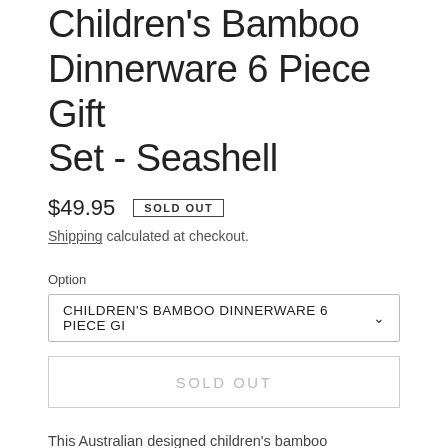Children's Bamboo Dinnerware 6 Piece Gift Set - Seashell
$49.95  SOLD OUT
Shipping calculated at checkout.
Option
CHILDREN'S BAMBOO DINNERWARE 6 PIECE GI
SOLD OUT
This Australian designed children's bamboo dinnerware set combines sustainable and renewable bamboo fibre with BPA-1...